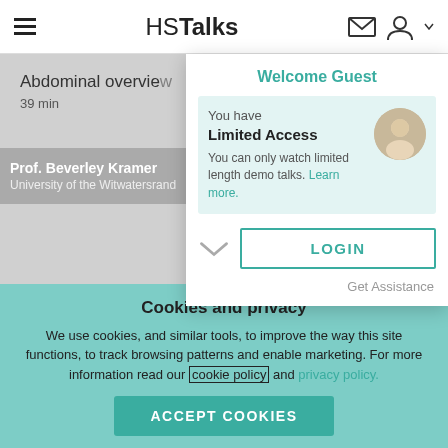HSTalks
Abdominal overview
39 min
Prof. Beverley Kramer
University of the Witwatersrand
Welcome Guest
You have Limited Access
You can only watch limited length demo talks. Learn more.
LOGIN
Get Assistance
Cookies and privacy
We use cookies, and similar tools, to improve the way this site functions, to track browsing patterns and enable marketing. For more information read our cookie policy and privacy policy.
ACCEPT COOKIES